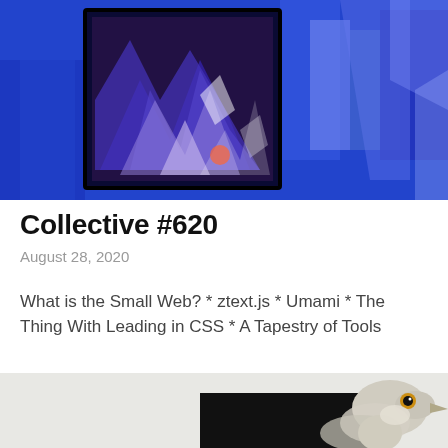[Figure (illustration): Abstract 3D artwork with blue and purple geometric shapes. A framed image featuring dark angular forms on a blue background is centered, surrounded by larger blue geometric shapes suggesting an architectural or digital art scene.]
Collective #620
August 28, 2020
What is the Small Web? * ztext.js * Umami * The Thing With Leading in CSS * A Tapestry of Tools
[Figure (photo): Partial view of a bird illustration — a white/grey bird with detailed feathers visible at the right edge, against a light grey background with a black rectangular element partially visible.]